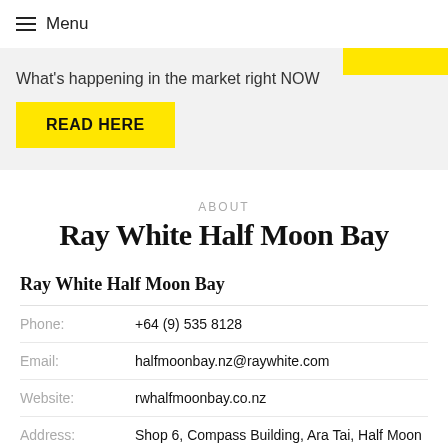Menu
[Figure (logo): Ray White yellow logo box in top right corner]
What's happening in the market right NOW
READ HERE
ABOUT
Ray White Half Moon Bay
Ray White Half Moon Bay
Phone: +64 (9) 535 8128
Email: halfmoonbay.nz@raywhite.com
Website: rwhalfmoonbay.co.nz
Address: Shop 6, Compass Building, Ara Tai, Half Moon